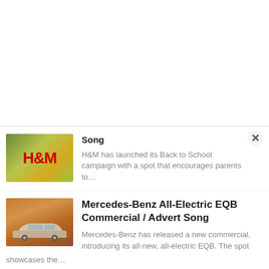[Figure (screenshot): H&M thumbnail image showing children outdoors with yellow flowers and H&M logo in red]
Song
H&M has launched its Back to School campaign with a spot that encourages parents to…
[Figure (screenshot): Mercedes-Benz EQB SUV thumbnail image with desert/dune background in warm orange tones]
Mercedes-Benz All-Electric EQB Commercial / Advert Song
Mercedes-Benz has released a new commercial, introducing its all-new, all-electric EQB. The spot showcases the…